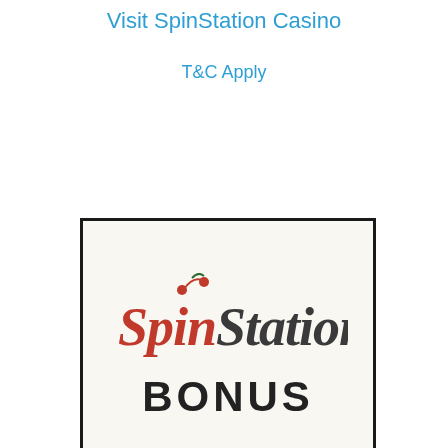Visit SpinStation Casino
T&C Apply
[Figure (logo): SpinStation Casino logo with red 'Spin' script and dark grey 'Station' script text, with a cherry icon above the 'i', on a light cream background inside a black border box. Below the logo is large text reading 'BONUS' (partially visible).]